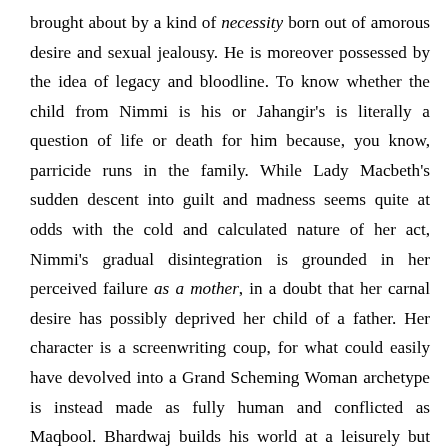brought about by a kind of necessity born out of amorous desire and sexual jealousy. He is moreover possessed by the idea of legacy and bloodline. To know whether the child from Nimmi is his or Jahangir's is literally a question of life or death for him because, you know, parricide runs in the family. While Lady Macbeth's sudden descent into guilt and madness seems quite at odds with the cold and calculated nature of her act, Nimmi's gradual disintegration is grounded in her perceived failure as a mother, in a doubt that her carnal desire has possibly deprived her child of a father. Her character is a screenwriting coup, for what could easily have devolved into a Grand Scheming Woman archetype is instead made as fully human and conflicted as Maqbool. Bhardwaj builds his world at a leisurely but steady pace and elaborates on The Bard's lean tale, providing backstories to the originally secondary